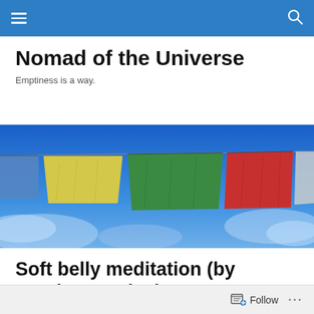Nomad of the Universe — navigation bar
Nomad of the Universe
Emptiness is a way.
[Figure (photo): Colorful Tibetan prayer flags (blue, yellow, green, red, white) against a bright blue sky with wispy clouds.]
Soft belly meditation (by Stephen Levine)
Taking a few deep breaths, feel the body you breathe in.
Follow